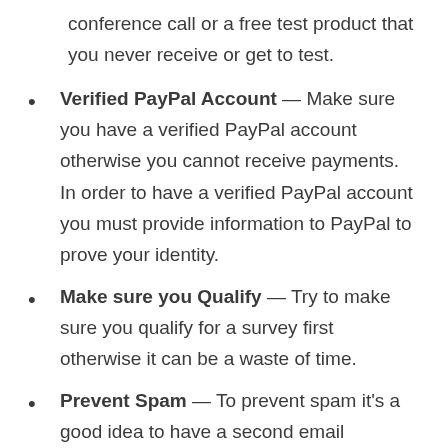conference call or a free test product that you never receive or get to test.
Verified PayPal Account — Make sure you have a verified PayPal account otherwise you cannot receive payments. In order to have a verified PayPal account you must provide information to PayPal to prove your identity.
Make sure you Qualify — Try to make sure you qualify for a survey first otherwise it can be a waste of time.
Prevent Spam — To prevent spam it's a good idea to have a second email account. That way if you get offers and spam from various companies it won't end up in your primary email account.
Don't violate the terms and conditions —